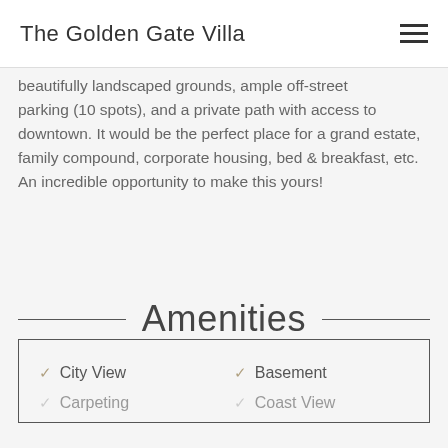The Golden Gate Villa
beautifully landscaped grounds, ample off-street parking (10 spots), and a private path with access to downtown. It would be the perfect place for a grand estate, family compound, corporate housing, bed & breakfast, etc. An incredible opportunity to make this yours!
Amenities
City View
Basement
Carpeting
Coast View